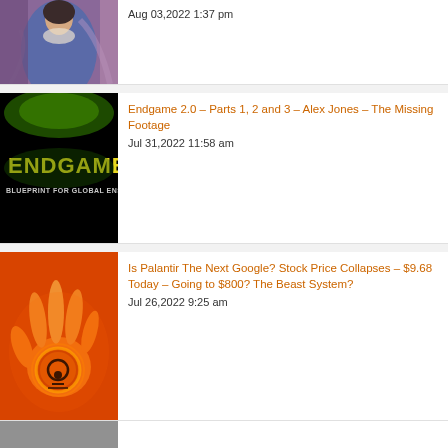[Figure (photo): Partial view of a classical painting showing a woman in blue and purple robes]
Aug 03,2022 1:37 pm
[Figure (photo): Endgame: Blueprint for Global Enslavement movie poster with yellow text on black background with green glow]
Endgame 2.0 – Parts 1, 2 and 3 – Alex Jones – The Missing Footage
Jul 31,2022 11:58 am
[Figure (photo): Orange/red background with glowing hand holding a sphere with an eye/circle symbol]
Is Palantir The Next Google? Stock Price Collapses – $9.68 Today – Going to $800? The Beast System?
Jul 26,2022 9:25 am
[Figure (photo): Partial image at bottom of page, cut off]